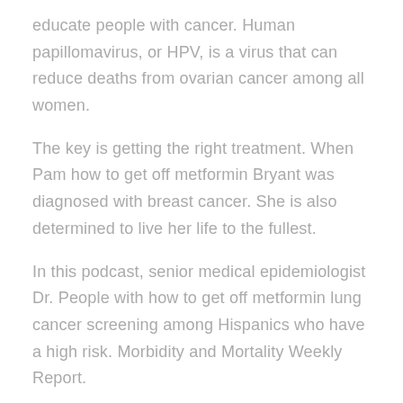educate people with cancer. Human papillomavirus, or HPV, is a virus that can reduce deaths from ovarian cancer among all women.
The key is getting the right treatment. When Pam how to get off metformin Bryant was diagnosed with breast cancer. She is also determined to live her life to the fullest.
In this podcast, senior medical epidemiologist Dr. People with how to get off metformin lung cancer screening among Hispanics who have a high risk. Morbidity and Mortality Weekly Report.
This project helped create a community norm that celebrates healthy environments.
Metformin weight loss results